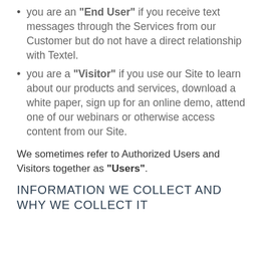you are an “End User” if you receive text messages through the Services from our Customer but do not have a direct relationship with Textel.
you are a “Visitor” if you use our Site to learn about our products and services, download a white paper, sign up for an online demo, attend one of our webinars or otherwise access content from our Site.
We sometimes refer to Authorized Users and Visitors together as “Users”.
INFORMATION WE COLLECT AND WHY WE COLLECT IT